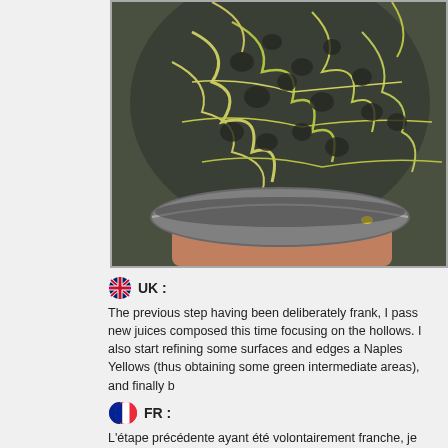[Figure (photo): Close-up photo of a dark stone/rock miniature with green-yellow network patterns (serpentinite or similar mineral texture) being held, sitting on a flat round base. The rock has a honeycomb-like surface texture with cream/yellow veining against dark grey/green matrix.]
🇬🇧 UK :
The previous step having been deliberately frank, I pass new juices composed this time focusing on the hollows. I also start refining some surfaces and edges a Naples Yellows (thus obtaining some green intermediate areas), and finally b
🇫🇷 FR :
L'étape précédente ayant été volontairement franche, je repasse de nouvea aussi de violet, cette fois en me concentrant sur les creux. Je commence au arêtes attirant la lumière, avec de l'Ice Blue GW, puis du Jaunes de Naples intermédiaires vertes), et enfin de l'Ivoire.